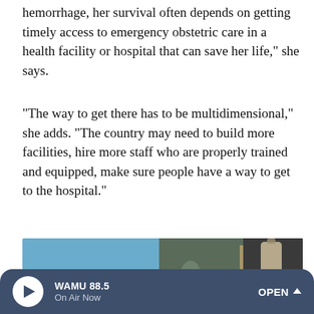hemorrhage, her survival often depends on getting timely access to emergency obstetric care in a health facility or hospital that can save her life," she says.
"The way to get there has to be multidimensional," she adds. "The country may need to build more facilities, hire more staff who are properly trained and equipped, make sure people have a way to get to the hospital."
[Figure (photo): A person leaning over a bed covered with a blue mosquito net in a room with patterned curtains and various items hanging in the background.]
WAMU 88.5 · On Air Now · OPEN